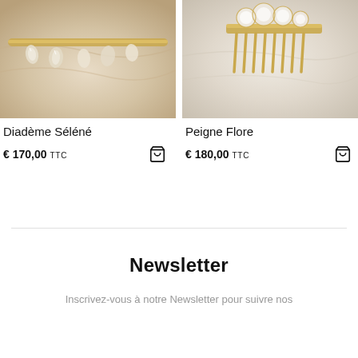[Figure (photo): Close-up photo of a gold diadem/tiara with crystal/quartz drops on cream satin fabric - Diadème Séléné]
[Figure (photo): Close-up photo of a gold hair comb with pearl/crystal flower clusters on white fabric - Peigne Flore]
Diadème Séléné
€ 170,00 TTC
Peigne Flore
€ 180,00 TTC
Newsletter
Inscrivez-vous à notre Newsletter pour suivre nos